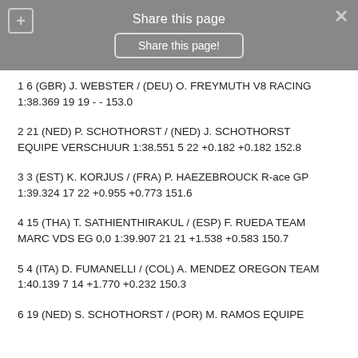Share this page
1 6 (GBR) J. WEBSTER / (DEU) O. FREYMUTH V8 RACING 1:38.369 19 19 - - 153.0
2 21 (NED) P. SCHOTHORST / (NED) J. SCHOTHORST EQUIPE VERSCHUUR 1:38.551 5 22 +0.182 +0.182 152.8
3 3 (EST) K. KORJUS / (FRA) P. HAEZEBROUCK R-ace GP 1:39.324 17 22 +0.955 +0.773 151.6
4 15 (THA) T. SATHIENTHIRAKUL / (ESP) F. RUEDA TEAM MARC VDS EG 0,0 1:39.907 21 21 +1.538 +0.583 150.7
5 4 (ITA) D. FUMANELLI / (COL) A. MENDEZ OREGON TEAM 1:40.139 7 14 +1.770 +0.232 150.3
6 19 (NED) S. SCHOTHORST / (POR) M. RAMOS EQUIPE